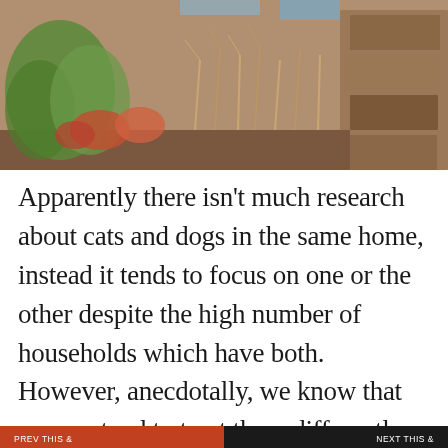[Figure (photo): Outdoor garden/nature scene with plants, dried vegetation, and reddish-orange flowers against a stone or wall backdrop. Partial blue sky visible at top.]
Apparently there isn’t much research about cats and dogs in the same home, instead it tends to focus on one or the other despite the high number of households which have both. However, anecdotally, we know that owners tend to treat them differently and the stats above
Privacy & Cookies: This site uses cookies. By continuing to use this website, you agree to their use.
To find out more, including how to control cookies, see here: Cookie Policy
Close and accept